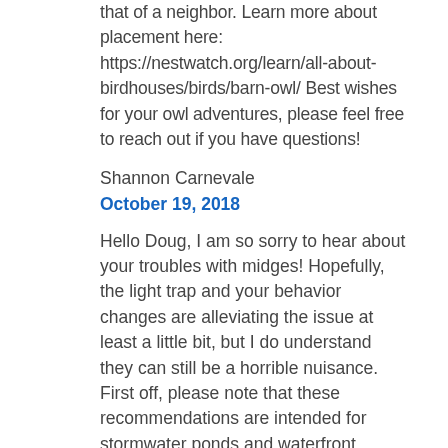that of a neighbor. Learn more about placement here: https://nestwatch.org/learn/all-about-birdhouses/birds/barn-owl/ Best wishes for your owl adventures, please feel free to reach out if you have questions!
Shannon Carnevale
October 19, 2018
Hello Doug, I am so sorry to hear about your troubles with midges! Hopefully, the light trap and your behavior changes are alleviating the issue at least a little bit, but I do understand they can still be a horrible nuisance. First off, please note that these recommendations are intended for stormwater ponds and waterfront owners in Florida. It's entirely possible you have a different species in your neck of the woods, and I'm not at all familiar with Texas's lake ecology. That said, if you were in Florida, this is what my response would be ... Dunkin sticks aren't likely to have